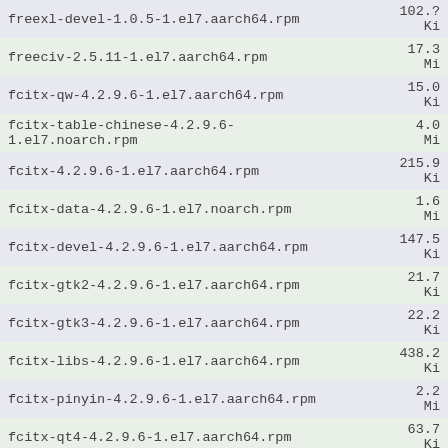| Package | Size |
| --- | --- |
| freexl-devel-1.0.5-1.el7.aarch64.rpm | 102.? Ki |
| freeciv-2.5.11-1.el7.aarch64.rpm | 17.3 Mi |
| fcitx-qw-4.2.9.6-1.el7.aarch64.rpm | 15.0 Ki |
| fcitx-table-chinese-4.2.9.6-1.el7.noarch.rpm | 4.0 Mi |
| fcitx-4.2.9.6-1.el7.aarch64.rpm | 215.9 Ki |
| fcitx-data-4.2.9.6-1.el7.noarch.rpm | 1.6 Mi |
| fcitx-devel-4.2.9.6-1.el7.aarch64.rpm | 147.5 Ki |
| fcitx-gtk2-4.2.9.6-1.el7.aarch64.rpm | 21.7 Ki |
| fcitx-gtk3-4.2.9.6-1.el7.aarch64.rpm | 22.2 Ki |
| fcitx-libs-4.2.9.6-1.el7.aarch64.rpm | 438.2 Ki |
| fcitx-pinyin-4.2.9.6-1.el7.aarch64.rpm | 2.2 Mi |
| fcitx-qt4-4.2.9.6-1.el7.aarch64.rpm | 63.7 Ki |
| fcitx-table-4.2.9.6-1.el7.aarch64.rpm | 39.6 Ki |
| fstrm-0.3.2-1.el7.aarch64.rpm | 23.9 Ki |